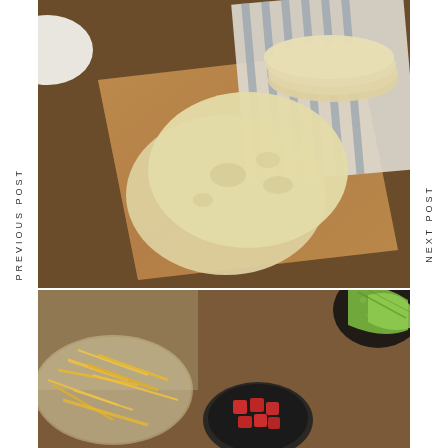[Figure (photo): Overhead photo of flour tortillas on a wooden cutting board with a striped kitchen towel, white ceramic bowl partially visible on the left, wooden background]
PREVIOUS POST
NEXT POST
[Figure (photo): Overhead photo of taco ingredients including shredded yellow cheese in a glass bowl, diced red tomatoes in a dark bowl, lime wedges in a speckled black bowl, on a wooden table]